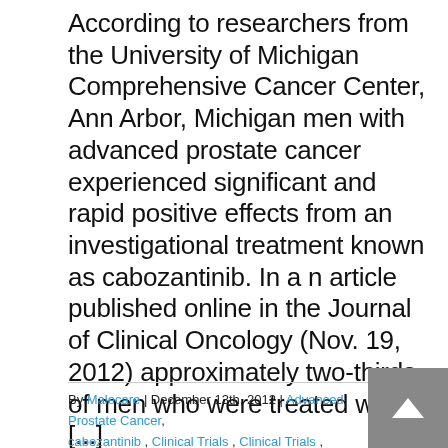According to researchers from the University of Michigan Comprehensive Cancer Center, Ann Arbor, Michigan men with advanced prostate cancer experienced significant and rapid positive effects from an investigational treatment known as cabozantinib. In a n article published online in the Journal of Clinical Oncology (Nov. 19, 2012) approximately two-thirds of men who were treated with [...]
By Malecare | December 13th, 2012 | Advanced Prostate Cancer, cabozantinib, Clinical Trials, Clinical Trials, Drugs & Treatments, Research, Uncategorized | 0 Comments
Read More >